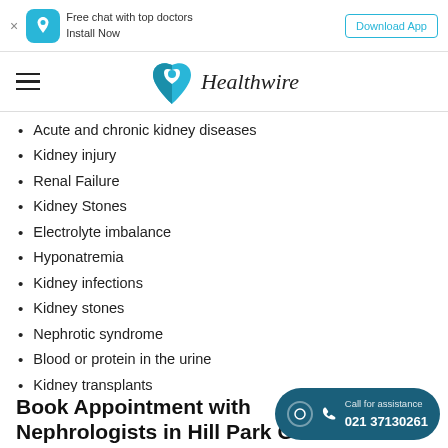Free chat with top doctors Install Now | Download App
[Figure (logo): Healthwire logo with teal heart/location pin icon and italic serif text 'Healthwire']
Acute and chronic kidney diseases
Kidney injury
Renal Failure
Kidney Stones
Electrolyte imbalance
Hyponatremia
Kidney infections
Kidney stones
Nephrotic syndrome
Blood or protein in the urine
Kidney transplants
Autoimmune disorders
Dialysis etc
Book Appointment with Nephrologists in Hill Park General